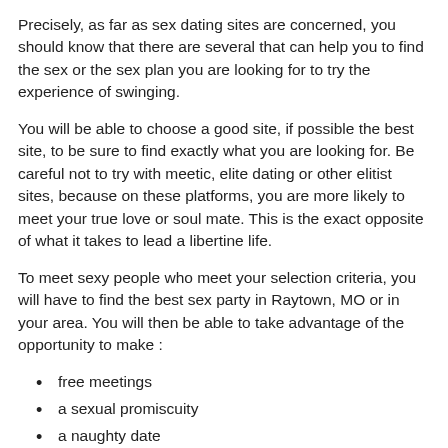Precisely, as far as sex dating sites are concerned, you should know that there are several that can help you to find the sex or the sex plan you are looking for to try the experience of swinging.
You will be able to choose a good site, if possible the best site, to be sure to find exactly what you are looking for. Be careful not to try with meetic, elite dating or other elitist sites, because on these platforms, you are more likely to meet your true love or soul mate. This is the exact opposite of what it takes to lead a libertine life.
To meet sexy people who meet your selection criteria, you will have to find the best sex party in Raytown, MO or in your area. You will then be able to take advantage of the opportunity to make :
free meetings
a sexual promiscuity
a naughty date
an ephemeral meeting
a cougar woman
a wife swapping, etc.